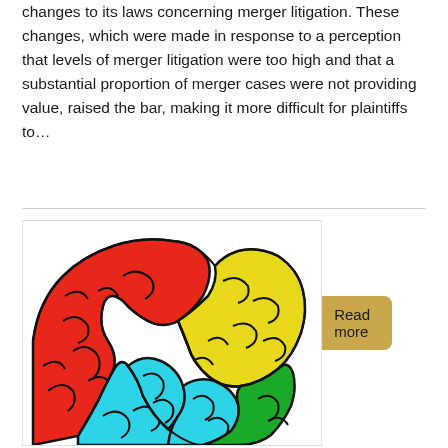changes to its laws concerning merger litigation. These changes, which were made in response to a perception that levels of merger litigation were too high and that a substantial proportion of merger cases were not providing value, raised the bar, making it more difficult for plaintiffs to...
Read more
[Figure (illustration): Colorful illustration of a human brain divided into colored lobes: red (top left/frontal), yellow (top right/parietal), cyan/light blue (bottom/temporal), and green (bottom right). Black outlines define the brain folds and lobes.]